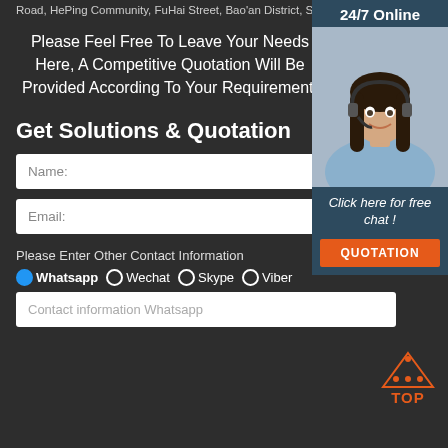Road, HePing Community, FuHai Street, Bao'an District, ShenZhen
Please Feel Free To Leave Your Needs Here, A Competitive Quotation Will Be Provided According To Your Requirement.
[Figure (photo): Woman with headset smiling, customer service representative, with '24/7 Online' header and 'Click here for free chat!' and 'QUOTATION' button]
Get Solutions & Quotation
Name:
Email:
Please Enter Other Contact Information
Whatsapp
Wechat
Skype
Viber
Contact information Whatsapp